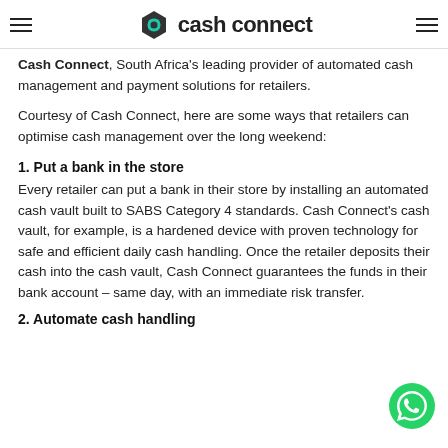Cash Connect
Cash Connect, South Africa's leading provider of automated cash management and payment solutions for retailers.
Courtesy of Cash Connect, here are some ways that retailers can optimise cash management over the long weekend:
1. Put a bank in the store
Every retailer can put a bank in their store by installing an automated cash vault built to SABS Category 4 standards. Cash Connect's cash vault, for example, is a hardened device with proven technology for safe and efficient daily cash handling. Once the retailer deposits their cash into the cash vault, Cash Connect guarantees the funds in their bank account – same day, with an immediate risk transfer.
2. Automate cash handling